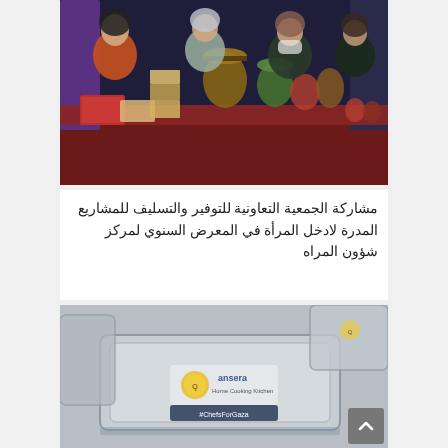[Figure (photo): Women in hijabs standing behind a table displaying various food products including jars of pickles, olives, canned goods, and packaged items at an exhibition or market. Promotional banners are visible in the background.]
مشاركة الجمعية التعاونية للتوفير والتسليف للمشاريع المدرة لادخل المرأة في المعرض السنوي لمركز شؤون المراه
[Figure (photo): Close-up of food delivery containers/trays with logos including what appears to be 'Qansera' and '#ChefsForGaza' branding on a label.]